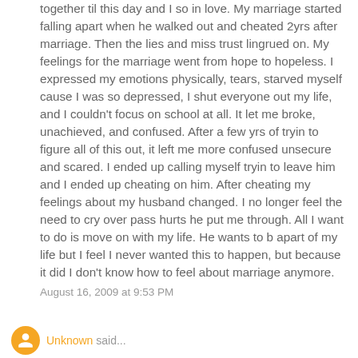together til this day and I so in love. My marriage started falling apart when he walked out and cheated 2yrs after marriage. Then the lies and miss trust lingrued on. My feelings for the marriage went from hope to hopeless. I expressed my emotions physically, tears, starved myself cause I was so depressed, I shut everyone out my life, and I couldn't focus on school at all. It let me broke, unachieved, and confused. After a few yrs of tryin to figure all of this out, it left me more confused unsecure and scared. I ended up calling myself tryin to leave him and I ended up cheating on him. After cheating my feelings about my husband changed. I no longer feel the need to cry over pass hurts he put me through. All I want to do is move on with my life. He wants to b apart of my life but I feel I never wanted this to happen, but because it did I don't know how to feel about marriage anymore.
August 16, 2009 at 9:53 PM
Unknown said...